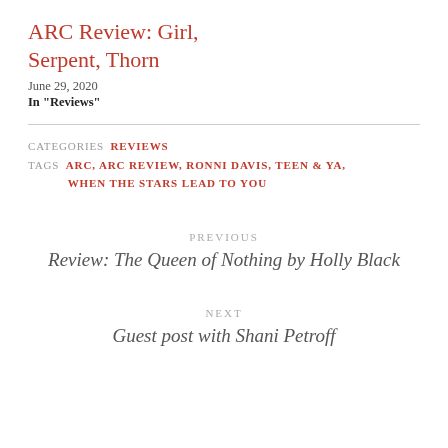ARC Review: Girl, Serpent, Thorn
June 29, 2020
In "Reviews"
CATEGORIES  REVIEWS
TAGS  ARC, ARC REVIEW, RONNI DAVIS, TEEN & YA, WHEN THE STARS LEAD TO YOU
PREVIOUS
Review: The Queen of Nothing by Holly Black
NEXT
Guest post with Shani Petroff